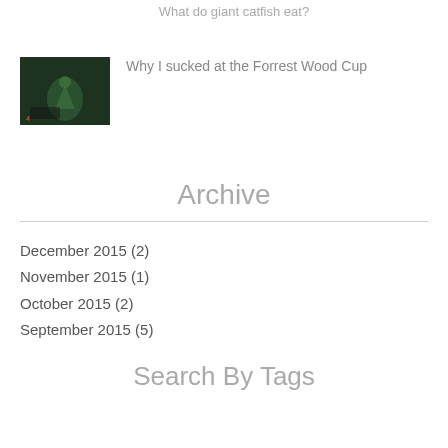What do giant catfish eat?
[Figure (photo): Thumbnail image of Forrest Wood Cup event with trophy and dark background]
Why I sucked at the Forrest Wood Cup
Archive
December 2015 (2)
November 2015 (1)
October 2015 (2)
September 2015 (5)
Search By Tags